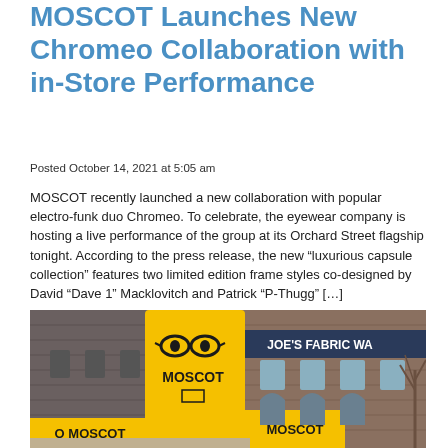MOSCOT Launches New Chromeo Collaboration with in-Store Performance
Posted October 14, 2021 at 5:05 am
MOSCOT recently launched a new collaboration with popular electro-funk duo Chromeo. To celebrate, the eyewear company is hosting a live performance of the group at its Orchard Street flagship tonight. According to the press release, the new “luxurious capsule collection” features two limited edition frame styles co-designed by David “Dave 1” Macklovitch and Patrick “P-Thugg” […]
[Figure (photo): Street-level photo of the MOSCOT flagship store corner with bright yellow signage showing large glasses logo and MOSCOT name, adjacent to Joe's Fabric Warehouse building.]